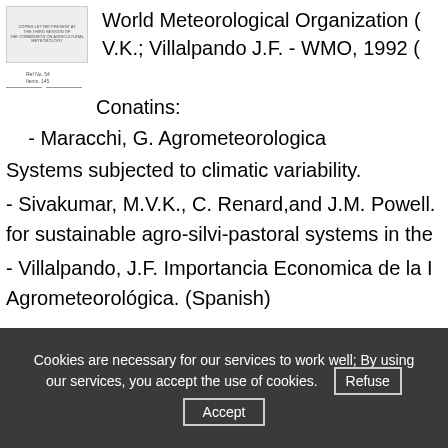World Meteorological Organization (... V.K.; Villalpando J.F. - WMO, 1992 (...
[Figure (other): Small thumbnail image of a document cover with tiny text]
Conatins:
- Maracchi, G. Agrometeorological Systems subjected to climatic variability.
- Sivakumar, M.V.K., C. Renard, and J.M. Powell. for sustainable agro-silvi-pastoral systems in the...
- Villalpando, J.F. Importancia Economica de la I... Agrometeorológica. (Spanish)
Cookies are necessary for our services to work well; By using our services, you accept the use of cookies.
Refuse
Accept